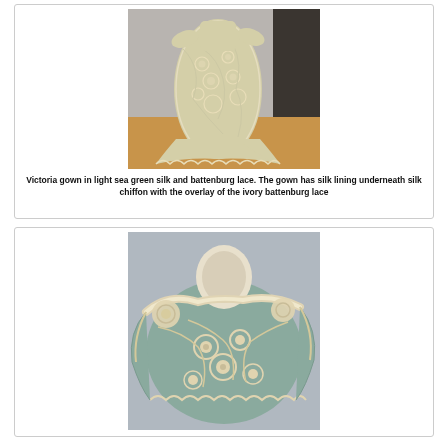[Figure (photo): A Victoria gown in light sea green silk and battenburg lace displayed on a mannequin or hanger, showing ornate ivory lace overlay with floral patterns, full-length view from front, with a long train on a wooden floor.]
Victoria gown in light sea green silk and battenburg lace. The gown has silk lining underneath silk chiffon with the overlay of the ivory battenburg lace
[Figure (photo): Close-up back view of a garment (bolero or jacket) in light sea green silk with heavy ivory battenburg lace appliqué showing floral and scroll motifs, on a mannequin with a white collar visible.]